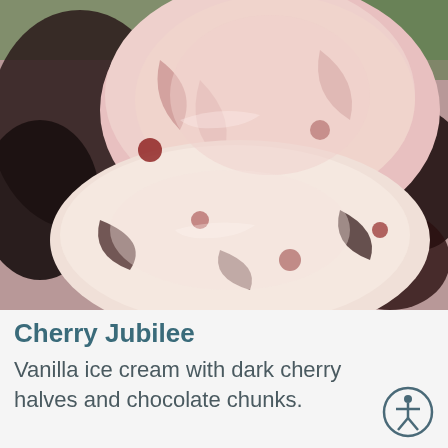[Figure (photo): Close-up photo of Cherry Jubilee ice cream scoops: pink/vanilla-tinted ice cream with dark cherry and chocolate chunk swirls, stacked generously.]
Cherry Jubilee
Vanilla ice cream with dark cherry halves and chocolate chunks.
[Figure (illustration): Accessibility icon: circular icon with a stick figure human silhouette inside a circle, indicating accessibility features.]